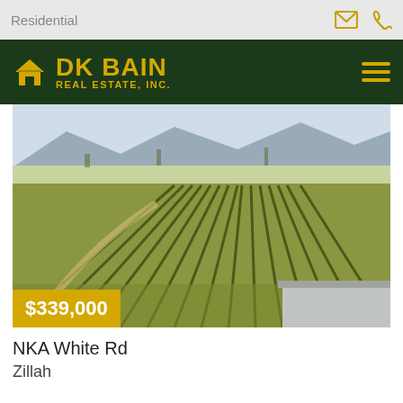Residential
[Figure (logo): DK Bain Real Estate, Inc. logo with house icon on dark green background]
[Figure (photo): Aerial view of vineyard rows with mountains in background, and a building roof visible in lower right corner. Price badge showing $339,000 overlaid at bottom left.]
NKA White Rd
Zillah